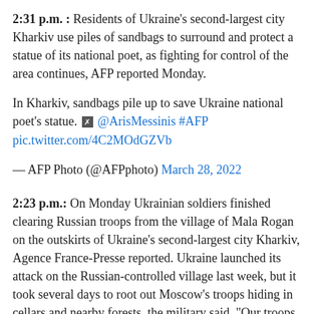2:31 p.m. : Residents of Ukraine's second-largest city Kharkiv use piles of sandbags to surround and protect a statue of its national poet, as fighting for control of the area continues, AFP reported Monday.
In Kharkiv, sandbags pile up to save Ukraine national poet's statue. [icon] @ArisMessinis #AFP pic.twitter.com/4C2MOdGZVb
— AFP Photo (@AFPphoto) March 28, 2022
2:23 p.m.: On Monday Ukrainian soldiers finished clearing Russian troops from the village of Mala Rogan on the outskirts of Ukraine's second-largest city Kharkiv, Agence France-Presse reported. Ukraine launched its attack on the Russian-controlled village last week, but it took several days to root out Moscow's troops hiding in cellars and nearby forests, the military said. "Our troops are liberating